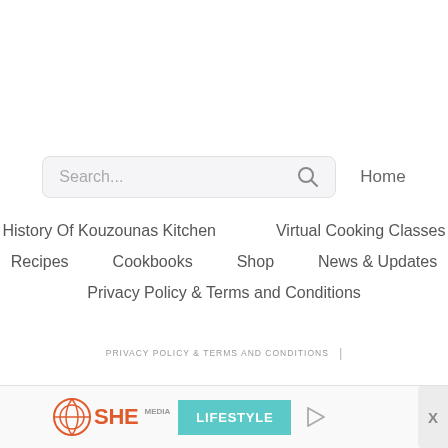[Figure (screenshot): Search bar with placeholder text 'Search...' and magnifying glass icon]
Home
History Of Kouzounas Kitchen
Virtual Cooking Classes
Recipes
Cookbooks
Shop
News & Updates
Privacy Policy & Terms and Conditions
PRIVACY POLICY & TERMS AND CONDITIONS  |
[Figure (logo): SHE Media Lifestyle advertisement banner with play button and close X button]